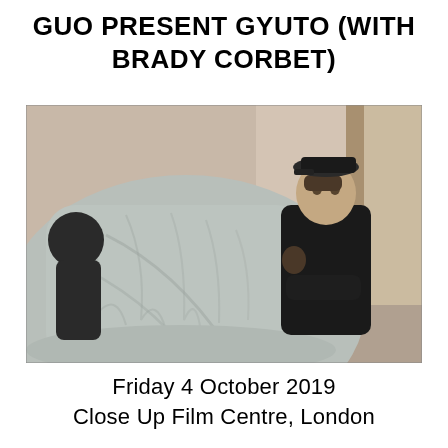GUO PRESENT GYUTO (WITH BRADY CORBET)
[Figure (photo): Black and white photograph showing a close-up of what appears to be a person in a light grey hoodie or sweatshirt in the foreground, with another person wearing dark clothing and a cap visible in the background leaning against a wall.]
Friday 4 October 2019
Close Up Film Centre, London